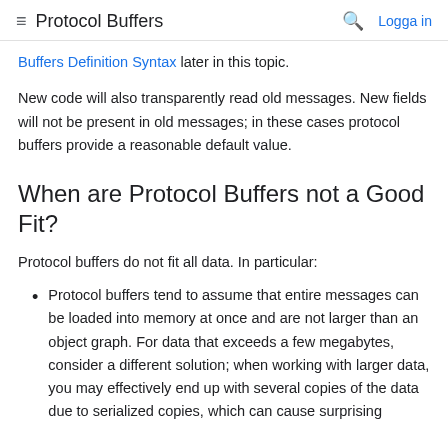≡ Protocol Buffers  🔍  Logga in
Buffers Definition Syntax later in this topic.
New code will also transparently read old messages. New fields will not be present in old messages; in these cases protocol buffers provide a reasonable default value.
When are Protocol Buffers not a Good Fit?
Protocol buffers do not fit all data. In particular:
Protocol buffers tend to assume that entire messages can be loaded into memory at once and are not larger than an object graph. For data that exceeds a few megabytes, consider a different solution; when working with larger data, you may effectively end up with several copies of the data due to serialized copies, which can cause surprising